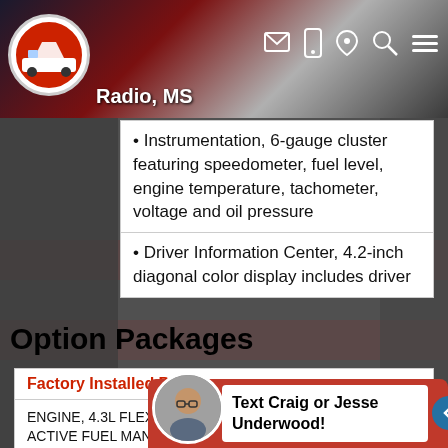Radio, MS
• Instrumentation, 6-gauge cluster featuring speedometer, fuel level, engine temperature, tachometer, voltage and oil pressure
• Driver Information Center, 4.2-inch diagonal color display includes driver
Option Packages
Factory Installed Packages
ENGINE, 4.3L FLEXFUEL ECOTEC3 V6 WITH ACTIVE FUEL MANAGEMENT, DIRECT INJECTION AND VARIABLE VALVE T...
Included
Text Craig or Jesse Underwood!